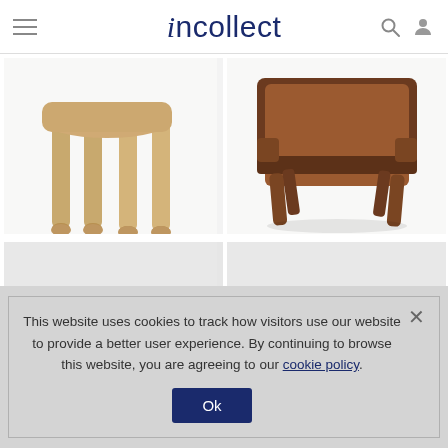incollect
[Figure (photo): Close-up of wooden animal sculpture legs (light wood), white background]
[Figure (photo): Mid-century modern lounge chair with brown leather cushion and walnut wood frame, white background]
[Figure (photo): Loading/placeholder image (light gray)]
[Figure (photo): Loading/placeholder image (light gray)]
This website uses cookies to track how visitors use our website to provide a better user experience. By continuing to browse this website, you are agreeing to our cookie policy.
Ok